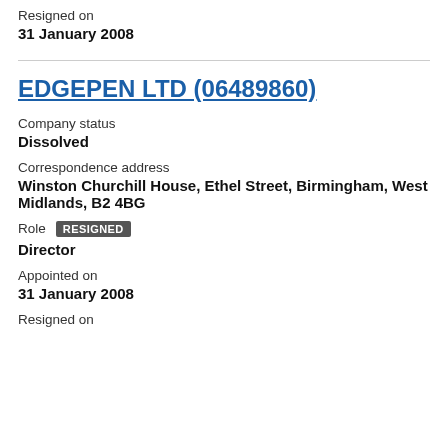Resigned on
31 January 2008
EDGEPEN LTD (06489860)
Company status
Dissolved
Correspondence address
Winston Churchill House, Ethel Street, Birmingham, West Midlands, B2 4BG
Role RESIGNED
Director
Appointed on
31 January 2008
Resigned on